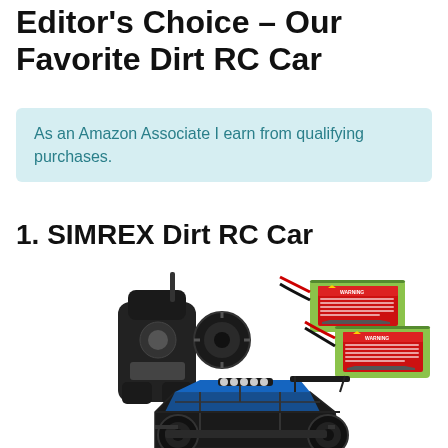Editor's Choice – Our Favorite Dirt RC Car
As an Amazon Associate I earn from qualifying purchases.
1. SIMREX Dirt RC Car
[Figure (photo): Product photo of SIMREX Dirt RC Car showing the RC car with remote controller and two green battery packs with warning labels]